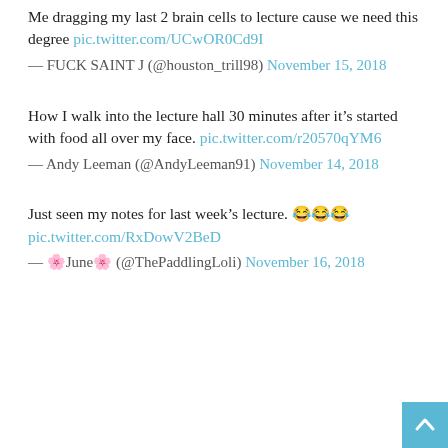Me dragging my last 2 brain cells to lecture cause we need this degree pic.twitter.com/UCwOR0Cd9I
— FUCK SAINT J (@houston_trill98) November 15, 2018
How I walk into the lecture hall 30 minutes after it's started with food all over my face. pic.twitter.com/r20570qYM6
— Andy Leeman (@AndyLeeman91) November 14, 2018
Just seen my notes for last week's lecture. 😂😂😂 pic.twitter.com/RxDowV2BeD
— 🌸June🌸 (@ThePaddlingLoli) November 16, 2018